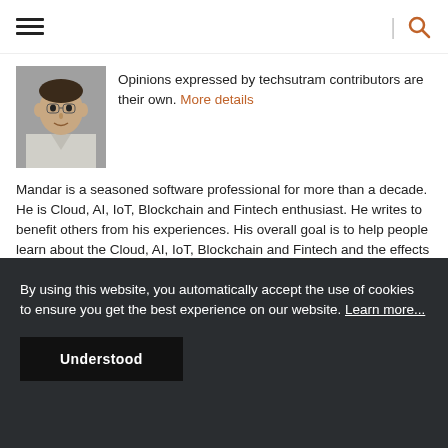Opinions expressed by techsutram contributors are their own. More details
Mandar is a seasoned software professional for more than a decade. He is Cloud, AI, IoT, Blockchain and Fintech enthusiast. He writes to benefit others from his experiences. His overall goal is to help people learn about the Cloud, AI, IoT, Blockchain and Fintech and the effects they will have economically and socially in the future.
By using this website, you automatically accept the use of cookies to ensure you get the best experience on our website. Learn more...
Understood